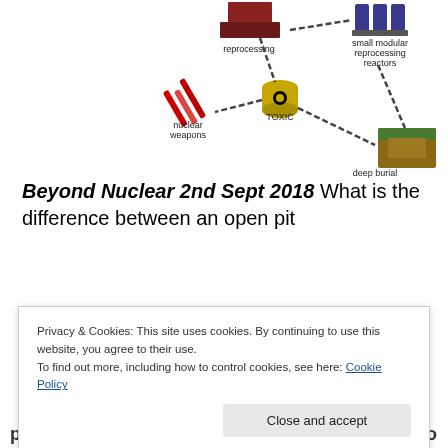[Figure (schematic): Nuclear fuel cycle infographic showing chain-link connections between: reprocessing (top center), small modular reprocessing reactors (top right), nuclear weapons (bottom left), toxic waste barrels (center), and deep burial (bottom right).]
Beyond Nuclear 2nd Sept 2018 What is the difference between an open pit
[Figure (photo): Small thumbnail image with blue background showing what appears to be a nuclear-related image (mushroom cloud or reactor cooling tower).]
Privacy & Cookies: This site uses cookies. By continuing to use this website, you agree to their use.
To find out more, including how to control cookies, see here: Cookie Policy
power plant produce electricity? What happens to reactor